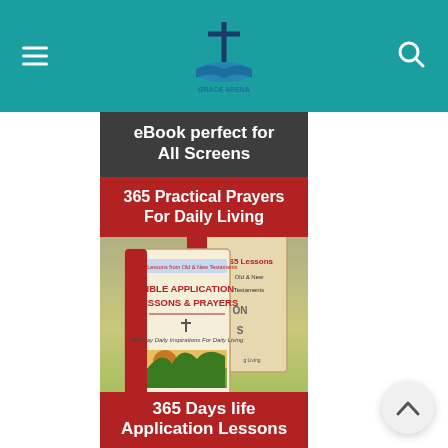Grace Arena (website logo/header)
[Figure (illustration): Book advertisement: eBook perfect for All Screens - 365 Practical Prayers For Daily Living / Bible Application Lessons & Prayers by Dr. James Taiwo]
eBook perfect for All Screens
365 Practical Prayers For Daily Living
365 Days life Application Lessons